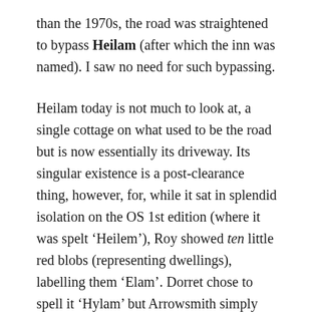than the 1970s, the road was straightened to bypass Heilam (after which the inn was named). I saw no need for such bypassing.
Heilam today is not much to look at, a single cottage on what used to be the road but is now essentially its driveway. Its singular existence is a post-clearance thing, however, for, while it sat in splendid isolation on the OS 1st edition (where it was spelt ‘Heilem’), Roy showed ten little red blobs (representing dwellings), labelling them ‘Elam’. Dorret chose to spell it ‘Hylam’ but Arrowsmith simply left it off his 1807 map, suggesting it was by then already too small to take note of.